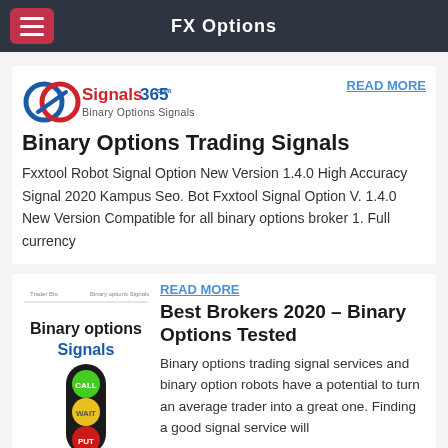FX Options
[Figure (logo): Signals365.com Binary Options Signals logo with interlocked circles icon in blue and red]
READ MORE
Binary Options Trading Signals
Fxxtool Robot Signal Option New Version 1.4.0 High Accuracy Signal 2020 Kampus Seo. Bot Fxxtool Signal Option V. 1.4.0 New Version Compatible for all binary options broker 1. Full currency
[Figure (screenshot): Binary options Signals image with traffic light call/wait/put buttons]
READ MORE
Best Brokers 2020 – Binary Options Tested
Binary options trading signal services and binary option robots have a potential to turn an average trader into a great one. Finding a good signal service will